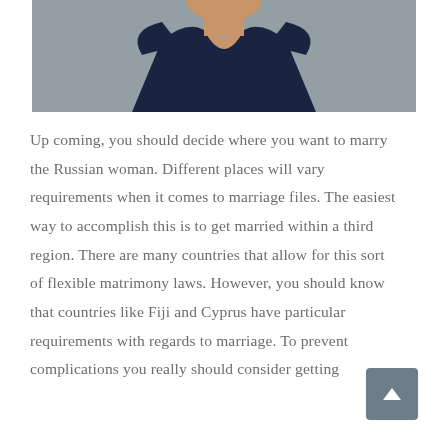[Figure (photo): Partial photo of a woman wearing a dark navy sleeveless V-neck top, cropped at the neck and shoulders, against a grey background.]
Up coming, you should decide where you want to marry the Russian woman. Different places will vary requirements when it comes to marriage files. The easiest way to accomplish this is to get married within a third region. There are many countries that allow for this sort of flexible matrimony laws. However, you should know that countries like Fiji and Cyprus have particular requirements with regards to marriage. To prevent complications you really should consider getting...